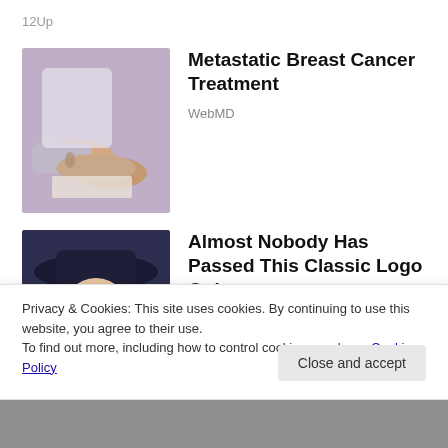12Up
[Figure (photo): Photo of two people holding hands across a table, medical setting]
Metastatic Breast Cancer Treatment
WebMD
[Figure (illustration): Illustration of a colonial-era figure wearing a wide-brimmed hat with white curly wig — Quaker Oats-style mascot]
Almost Nobody Has Passed This Classic Logo Quiz
WarpedSpeed
Privacy & Cookies: This site uses cookies. By continuing to use this website, you agree to their use.
To find out more, including how to control cookies, see here: Cookie Policy
Close and accept